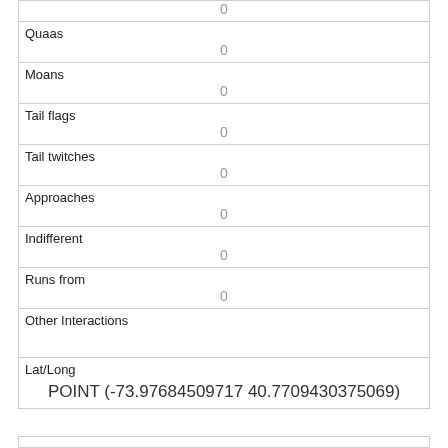|  | 0 |
| Quaas | 0 |
| Moans | 0 |
| Tail flags | 0 |
| Tail twitches | 0 |
| Approaches | 0 |
| Indifferent | 0 |
| Runs from | 0 |
| Other Interactions |  |
| Lat/Long | POINT (-73.97684509717 40.7709430375069) |